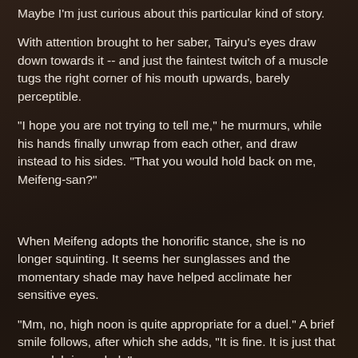Maybe I'm just curious about this particular kind of story.
With attention brought to her saber, Tairyu's eyes draw down towards it -- and just the faintest twitch of a muscle tugs the right corner of his mouth upwards, barely perceptible.
"I hope you are not trying to tell me," he murmurs, while his hands finally unwrap from each other, and draw instead to his sides. "That you would hold back on me, Meifeng-san?"
When Meifeng adopts the honorific stance, she is no longer squinting. It seems her sunglasses and the momentary shade may have helped acclimate her sensitive eyes.
"Mm, no, high noon is quite appropriate for a duel." A brief smile follows, after which she adds, "It is fine. It is just that your club is so dark."
Meifeng does fight back a yawn afterwards though. Bright